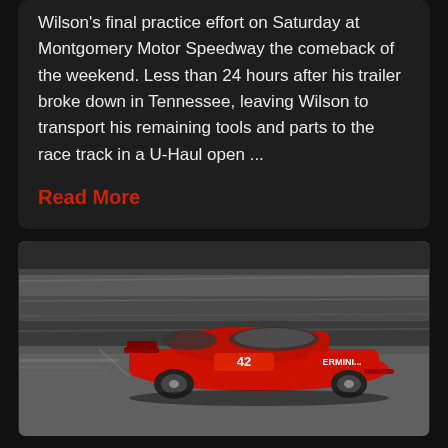Wilson's final practice effort on Saturday at Montgomery Motor Speedway the comeback of the weekend. Less than 24 hours after his trailer broke down in Tennessee, leaving Wilson to transport his remaining tools and parts to the race track in a U-Haul open ...
Read More
[Figure (photo): A red NASCAR-style race car driving on a track, motion blur visible in background, photographed at speed on a racing circuit.]